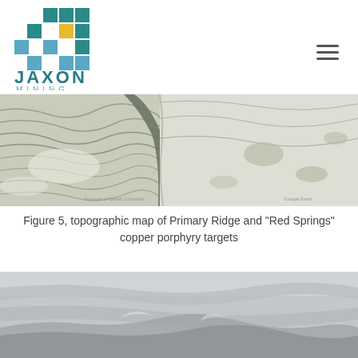[Figure (logo): Jaxon Mining logo with teal, blue, and yellow square grid pattern above JAXON MINING text]
[Figure (photo): Topographic map showing aerial/satellite view of Primary Ridge and Red Springs copper porphyry targets, showing snow-covered mountainous terrain with visible ridgelines]
Figure 5, topographic map of Primary Ridge and "Red Springs" copper porphyry targets
[Figure (photo): Aerial photograph showing mountainous terrain with clouds and grey sky]